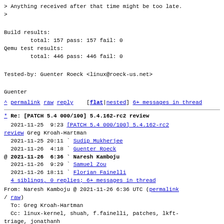> Anything received after that time might be too late.
>
Build results:
        total: 157 pass: 157 fail: 0
Qemu test results:
        total: 446 pass: 446 fail: 0
Tested-by: Guenter Roeck <linux@roeck-us.net>
Guenter
^ permalink raw reply [flat|nested] 6+ messages in thread
* Re: [PATCH 5.4 000/100] 5.4.162-rc2 review
2021-11-25 9:23 [PATCH 5.4 000/100] 5.4.162-rc2 review Greg Kroah-Hartman
  2021-11-25 20:11 ` Sudip Mukherjee
  2021-11-26  4:18 ` Guenter Roeck
@ 2021-11-26  6:36 ` Naresh Kamboju
  2021-11-26  9:29 ` Samuel Zou
  2021-11-26 18:11 ` Florian Fainelli
  4 siblings, 0 replies; 6+ messages in thread
From: Naresh Kamboju @ 2021-11-26  6:36 UTC (permalink / raw)
  To: Greg Kroah-Hartman
  Cc: linux-kernel, shuah, f.fainelli, patches, lkft-triage, jonathanh